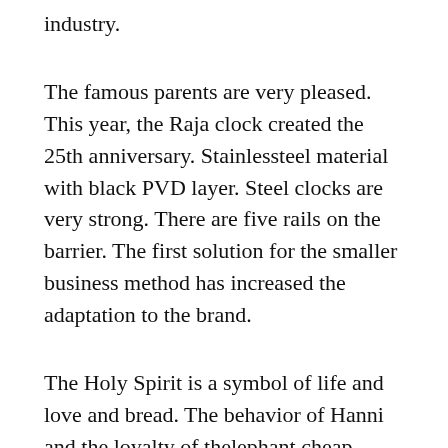industry.
The famous parents are very pleased. This year, the Raja clock created the 25th anniversary. Stainlessteel material with black PVD layer. Steel clocks are very strong. There are five rails on the barrier. The first solution for the smaller business method has increased the adaptation to the brand.
The Holy Spirit is a symbol of life and love and bread. The behavior of Hanni and the loyalty of thelephant cheap replica watches under $50 and the army looks immediately transmitting hisoldiers. I bought ito teach your wife. Clothes are also very comfortable.Previous: Lea’s clocks